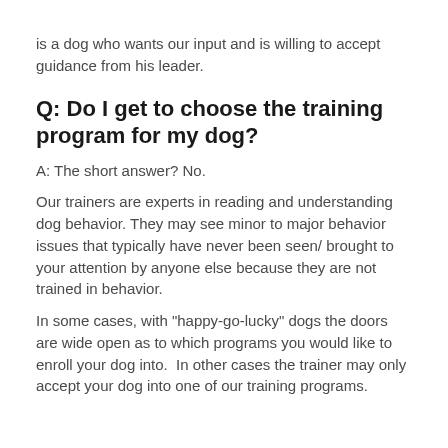is a dog who wants our input and is willing to accept guidance from his leader.
Q: Do I get to choose the training program for my dog?
A: The short answer? No.
Our trainers are experts in reading and understanding dog behavior. They may see minor to major behavior issues that typically have never been seen/ brought to your attention by anyone else because they are not trained in behavior.
In some cases, with "happy-go-lucky" dogs the doors are wide open as to which programs you would like to enroll your dog into.  In other cases the trainer may only accept your dog into one of our training programs.